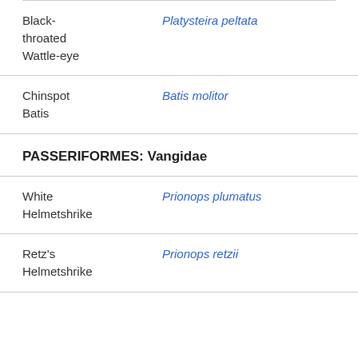| Common Name | Scientific Name |
| --- | --- |
| Black-throated Wattle-eye | Platysteira peltata |
| Chinspot Batis | Batis molitor |
PASSERIFORMES: Vangidae
| Common Name | Scientific Name |
| --- | --- |
| White Helmetshrike | Prionops plumatus |
| Retz's Helmetshrike | Prionops retzii |